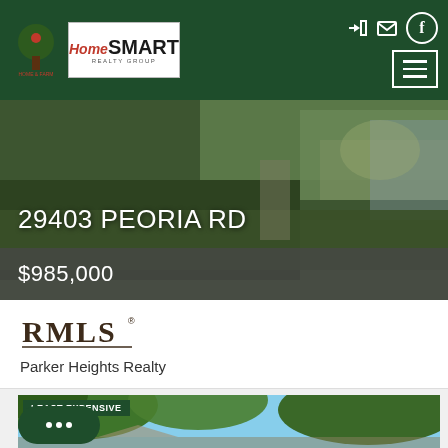HomeSmart Realty Group website header with navigation icons and menu button
[Figure (photo): Aerial/drone photo of 29403 Peoria Rd showing trees and waterway]
29403 PEORIA RD
$985,000
[Figure (logo): RMLS logo]
Parker Heights Realty
LEAST EXPENSIVE
[Figure (photo): Second property listing photo showing trees and house]
[Figure (other): Chat bubble widget with ellipsis icon]